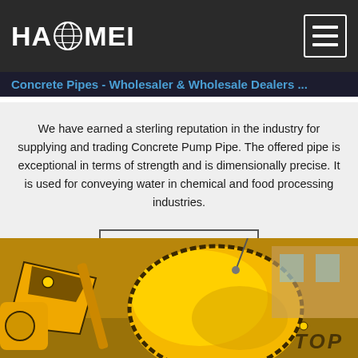HAOMEI
Concrete Pipes - Wholesaler & Wholesale Dealers ...
We have earned a sterling reputation in the industry for supplying and trading Concrete Pump Pipe. The offered pipe is exceptional in terms of strength and is dimensionally precise. It is used for conveying water in chemical and food processing industries.
Get Price
[Figure (photo): Yellow concrete pump or mixer machinery equipment photographed outdoors, showing large cylindrical drum and mechanical components. TOP watermark visible in lower right corner.]